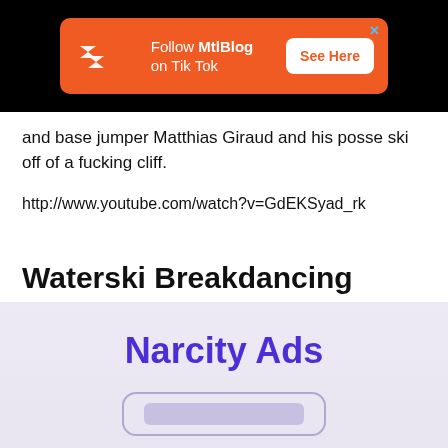[Figure (other): Orange advertisement banner on black background: Follow MtlBlog on Tik Tok — See Here button, with close X button]
and base jumper Matthias Giraud and his posse ski off of a fucking cliff.
http://www.youtube.com/watch?v=GdEKSyad_rk
Waterski Breakdancing
[Figure (other): Narcity Ads section with lavender/light purple gradient background, bold purple 'Narcity Ads' heading, and a rounded placeholder ad box below]